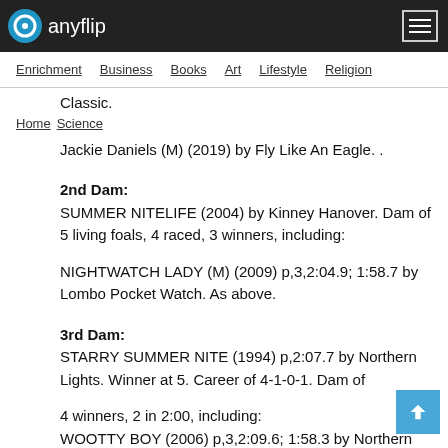anyflip
Enrichment  Business  Books  Art  Lifestyle  Religion
Classic.
Home   Science
Jackie Daniels (M) (2019) by Fly Like An Eagle. .
2nd Dam:
SUMMER NITELIFE (2004) by Kinney Hanover. Dam of 5 living foals, 4 raced, 3 winners, including:
NIGHTWATCH LADY (M) (2009) p,3,2:04.9; 1:58.7 by Lombo Pocket Watch. As above.
3rd Dam:
STARRY SUMMER NITE (1994) p,2:07.7 by Northern Lights. Winner at 5. Career of 4-1-0-1. Dam of
4 winners, 2 in 2:00, including:
WOOTTY BOY (2006) p,3,2:09.6; 1:58.3 by Northern Luck. 3